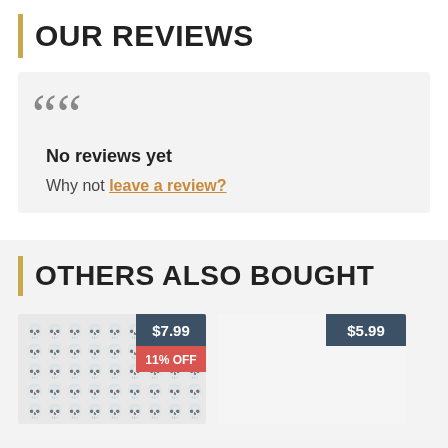OUR REVIEWS
No reviews yet
Why not leave a review?
OTHERS ALSO BOUGHT
[Figure (photo): Product thumbnail with skull pattern, priced at $7.99 with 11% OFF badge]
[Figure (photo): Product thumbnail (blank/white), priced at $5.99]